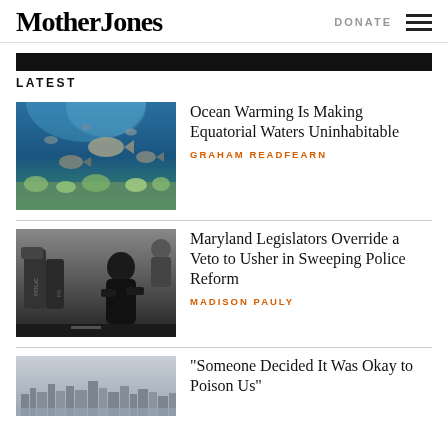Mother Jones
DONATE
LATEST
[Figure (photo): Underwater photo of fish swimming over coral reef with blue ocean water]
Ocean Warming Is Making Equatorial Waters Uninhabitable
GRAHAM READFEARN
[Figure (photo): Black and white photo of police equipment and a person in dark clothing]
Maryland Legislators Override a Veto to Usher in Sweeping Police Reform
MADISON PAULY
[Figure (photo): City skyline in muted grey tones]
“Someone Decided It Was Okay to Poison Us”